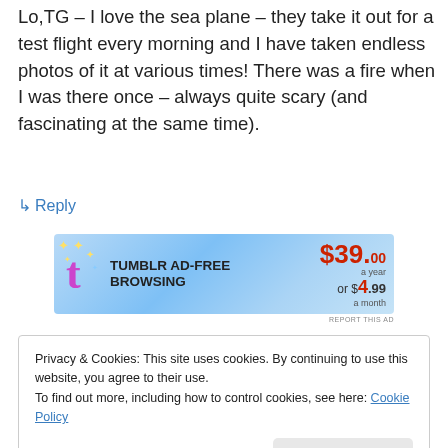Lo,TG – I love the sea plane – they take it out for a test flight every morning and I have taken endless photos of it at various times! There was a fire when I was there once – always quite scary (and fascinating at the same time).
↳ Reply
[Figure (other): Tumblr Ad-Free Browsing advertisement banner showing Tumblr logo with sparkles, text 'TUMBLR AD-FREE BROWSING', price $39.00 a year or $4.99 a month]
Privacy & Cookies: This site uses cookies. By continuing to use this website, you agree to their use.
To find out more, including how to control cookies, see here: Cookie Policy
Close and accept